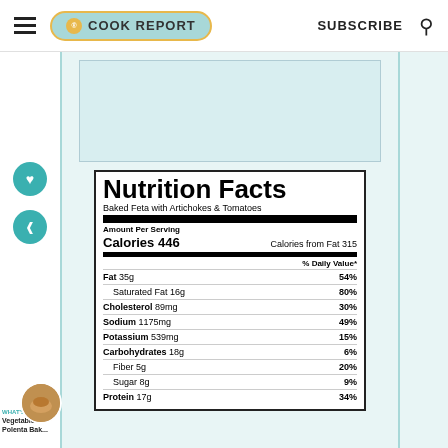COOK REPORT | SUBSCRIBE
| Nutrition Facts |  |
| --- | --- |
| Baked Feta with Artichokes & Tomatoes |  |
| Amount Per Serving |  |
| Calories 446 | Calories from Fat 315 |
|  | % Daily Value* |
| Fat 35g | 54% |
| Saturated Fat 16g | 80% |
| Cholesterol 89mg | 30% |
| Sodium 1175mg | 49% |
| Potassium 539mg | 15% |
| Carbohydrates 18g | 6% |
| Fiber 5g | 20% |
| Sugar 8g | 9% |
| Protein 17g | 34% |